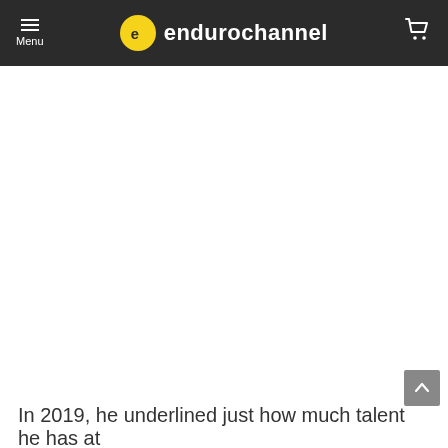Menu — endurochannel
[Figure (other): Large white blank content area, likely an image or video placeholder]
In 2019, he underlined just how much talent he has at